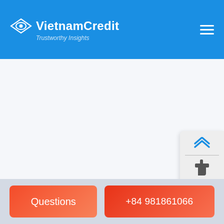VietnamCredit — Trustworthy Insights
[Figure (screenshot): VietnamCredit website header with logo and hamburger menu on blue background]
[Figure (infographic): Side widget panel showing up chevron arrow, thumbs up icon with count 414, divider, count 425, and thumbs down icon]
414
425
Questions | +84 981861066